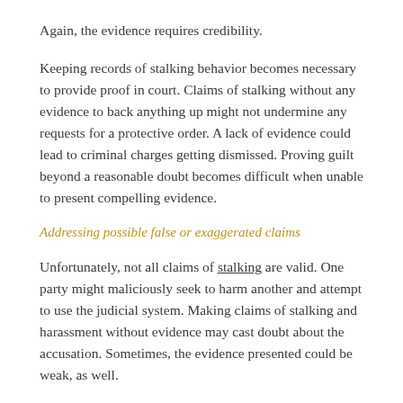Again, the evidence requires credibility.
Keeping records of stalking behavior becomes necessary to provide proof in court. Claims of stalking without any evidence to back anything up might not undermine any requests for a protective order. A lack of evidence could lead to criminal charges getting dismissed. Proving guilt beyond a reasonable doubt becomes difficult when unable to present compelling evidence.
Addressing possible false or exaggerated claims
Unfortunately, not all claims of stalking are valid. One party might maliciously seek to harm another and attempt to use the judicial system. Making claims of stalking and harassment without evidence may cast doubt about the accusation. Sometimes, the evidence presented could be weak, as well.